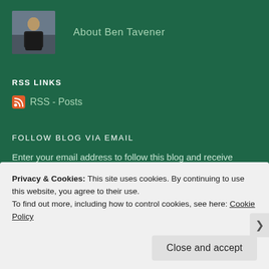[Figure (photo): Profile photo of Ben Tavener, a man in dark clothing outdoors]
About Ben Tavener
RSS LINKS
RSS - Posts
FOLLOW BLOG VIA EMAIL
Enter your email address to follow this blog and receive notifications of new posts by email.
Email Address
Privacy & Cookies: This site uses cookies. By continuing to use this website, you agree to their use.
To find out more, including how to control cookies, see here: Cookie Policy
Close and accept